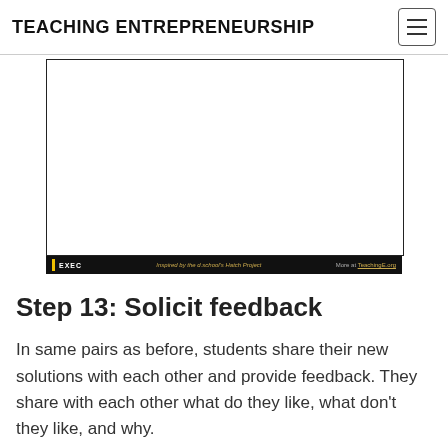TEACHING ENTREPRENEURSHIP
[Figure (screenshot): A presentation slide frame (mostly blank white) with a black footer bar showing 'EXEC', 'Inspired by the d.school's Hatch Project', and 'More at TeachingE.org']
Step 13: Solicit feedback
In same pairs as before, students share their new solutions with each other and provide feedback. They share with each other what do they like, what don't they like, and why.